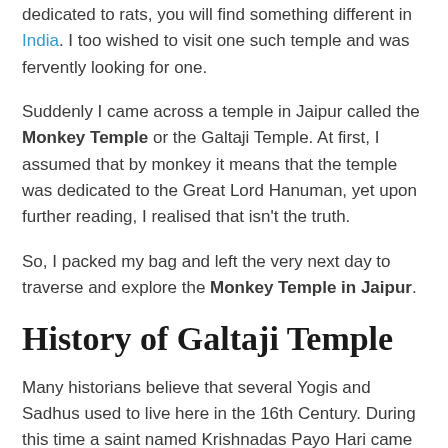dedicated to rats, you will find something different in India. I too wished to visit one such temple and was fervently looking for one.
Suddenly I came across a temple in Jaipur called the Monkey Temple or the Galtaji Temple. At first, I assumed that by monkey it means that the temple was dedicated to the Great Lord Hanuman, yet upon further reading, I realised that isn't the truth.
So, I packed my bag and left the very next day to traverse and explore the Monkey Temple in Jaipur.
History of Galtaji Temple
Many historians believe that several Yogis and Sadhus used to live here in the 16th Century. During this time a saint named Krishnadas Payo Hari came here and cleared the area of these Yogis and babas, using his magical powers.